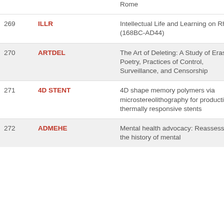| # | Code | Title |
| --- | --- | --- |
|  |  | Rome |
| 269 | ILLR | Intellectual Life and Learning on Rhodes (168BC-AD44) |
| 270 | ARTDEL | The Art of Deleting: A Study of Erasure Poetry, Practices of Control, Surveillance, and Censorship |
| 271 | 4D STENT | 4D shape memory polymers via microstereolithography for production of thermally responsive stents |
| 272 | ADMEHE | Mental health advocacy: Reassessing the history of mental |